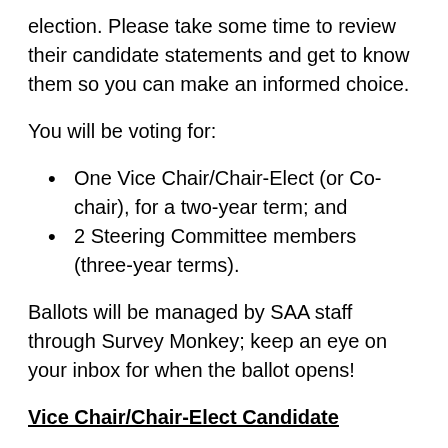election. Please take some time to review their candidate statements and get to know them so you can make an informed choice.
You will be voting for:
One Vice Chair/Chair-Elect (or Co-chair), for a two-year term; and
2 Steering Committee members (three-year terms).
Ballots will be managed by SAA staff through Survey Monkey; keep an eye on your inbox for when the ballot opens!
Vice Chair/Chair-Elect Candidate
Andrea Gietzen